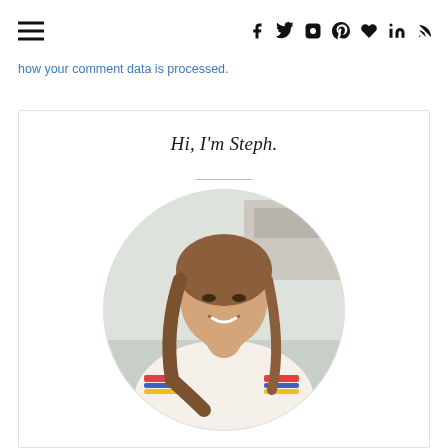Navigation header with hamburger menu and social icons: f, t, Instagram, Pinterest, heart, in, RSS
how your comment data is processed.
Hi, I'm Steph.
[Figure (photo): Circular portrait photo of a smiling young woman with long brown hair, wearing a white sweater with colorful stripes, resting her chin on her hand, with a kitchen background.]